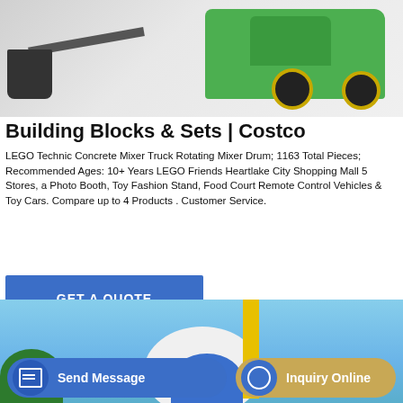[Figure (photo): Green construction concrete mixer truck / wheel loader on a light grey tiled floor background]
Building Blocks & Sets | Costco
LEGO Technic Concrete Mixer Truck Rotating Mixer Drum; 1163 Total Pieces; Recommended Ages: 10+ Years LEGO Friends Heartlake City Shopping Mall 5 Stores, a Photo Booth, Toy Fashion Stand, Food Court Remote Control Vehicles & Toy Cars. Compare up to 4 Products . Customer Service.
[Figure (photo): Wind turbine or industrial equipment being installed by a crane against a blue sky with trees]
GET A QUOTE
Send Message
Inquiry Online